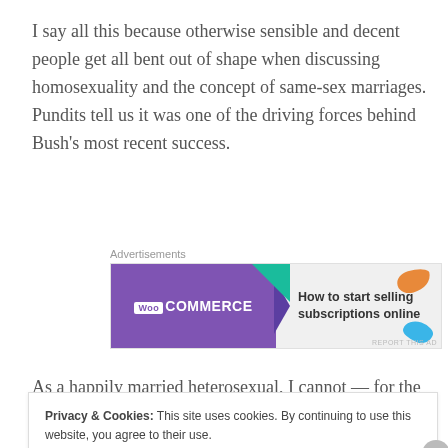I say all this because otherwise sensible and decent people get all bent out of shape when discussing homosexuality and the concept of same-sex marriages. Pundits tell us it was one of the driving forces behind Bush's most recent success.
[Figure (other): WooCommerce advertisement banner: purple background with WooCommerce logo on left, text 'How to start selling subscriptions online' on right, with decorative teal triangle, orange and blue leaf shapes]
As a happily married heterosexual, I cannot — for the
Privacy & Cookies: This site uses cookies. By continuing to use this website, you agree to their use.
To find out more, including how to control cookies, see here: Cookie Policy
Close and accept